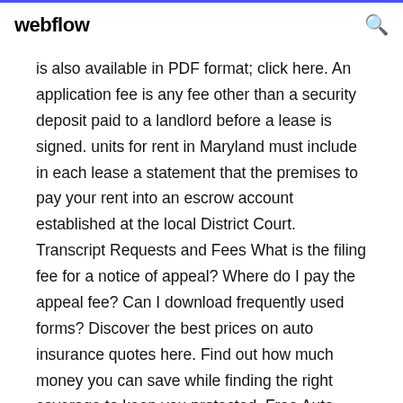webflow
is also available in PDF format; click here. An application fee is any fee other than a security deposit paid to a landlord before a lease is signed. units for rent in Maryland must include in each lease a statement that the premises to pay your rent into an escrow account established at the local District Court. Transcript Requests and Fees What is the filing fee for a notice of appeal? Where do I pay the appeal fee? Can I download frequently used forms? Discover the best prices on auto insurance quotes here. Find out how much money you can save while finding the right coverage to keep you protected. Free Auto Quote Insurance